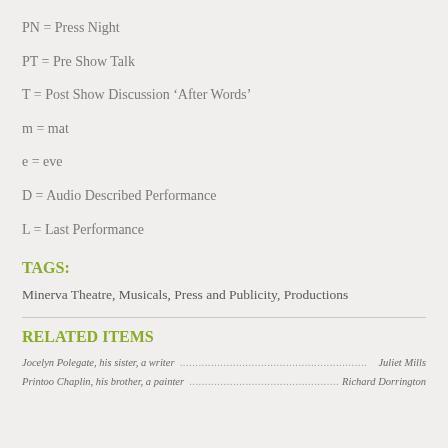PN = Press Night
PT = Pre Show Talk
T = Post Show Discussion ‘After Words’
m = mat
e = eve
D = Audio Described Performance
L = Last Performance
TAGS:
Minerva Theatre, Musicals, Press and Publicity, Productions
RELATED ITEMS
Jocelyn Polegate, his sister, a writer ... Juliet Mills
Printoo Chaplin, his brother, a painter ... Richard Dorrington